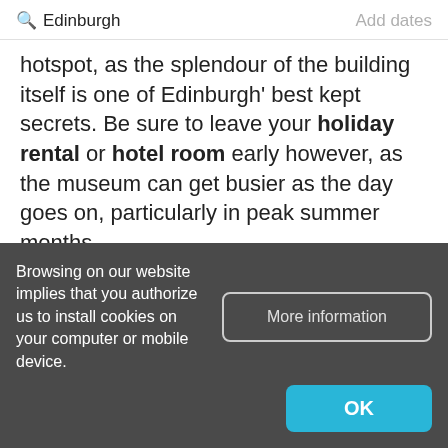Edinburgh   Add dates
hotspot, as the splendour of the building itself is one of Edinburgh' best kept secrets. Be sure to leave your holiday rental or hotel room early however, as the museum can get busier as the day goes on, particularly in peak summer months.
Go on a whiskey tour
Browsing on our website implies that you authorize us to install cookies on your computer or mobile device.